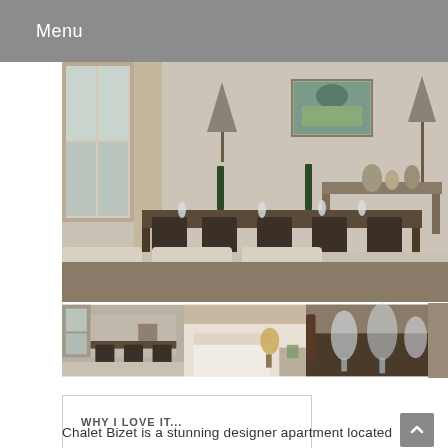Menu
[Figure (photo): Large interior photo of Chalet Bizet dining room with long dark wood table, dark chairs, wine glasses, bottles, and a painting on the wall]
[Figure (photo): Thumbnail: dining area with dark table and chairs]
[Figure (photo): Thumbnail: bedroom with white bedding and warm lamp]
[Figure (photo): Thumbnail: close-up of wine glasses on table]
WHY I LOVE IT...
Chalet Bizet is a stunning designer apartment located